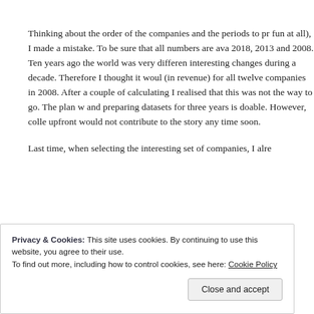Thinking about the order of the companies and the periods to pr... fun at all), I made a mistake. To be sure that all numbers are ava... 2018, 2013 and 2008. Ten years ago the world was very differen... interesting changes during a decade. Therefore I thought it woul... (in revenue) for all twelve companies in 2008. After a couple of ... calculating I realised that this was not the way to go. The plan w... and preparing datasets for three years is doable. However, colle... upfront would not contribute to the story any time soon.
Last time, when selecting the interesting set of companies, I alre...
Privacy & Cookies: This site uses cookies. By continuing to use this website, you agree to their use. To find out more, including how to control cookies, see here: Cookie Policy